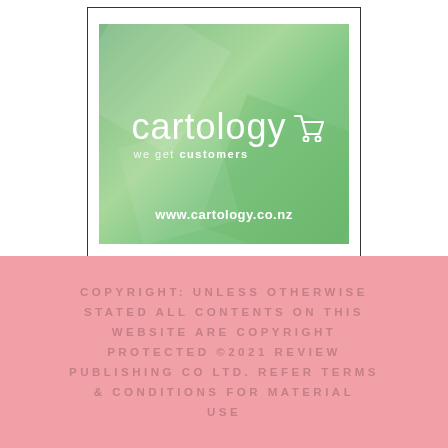[Figure (logo): Cartology logo on green gradient background with tagline 'we get customers' and URL www.cartology.co.nz, inside a bordered white frame]
COPYRIGHT: UNLESS OTHERWISE STATED ALL CONTENTS ON THIS WEBSITE ARE COPYRIGHT PROTECTED ©2021 REVIEW PUBLISHING CO LTD. REFER TERMS & CONDITIONS FOR MATERIAL USE